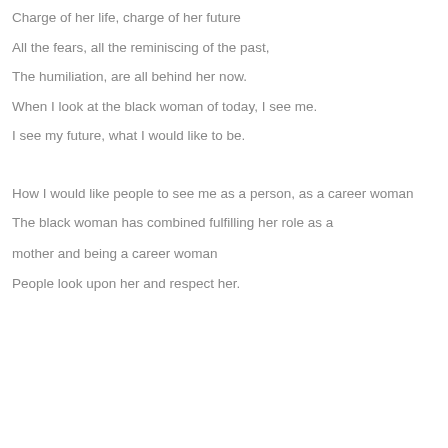Charge of her life, charge of her future
All the fears, all the reminiscing of the past,
The humiliation, are all behind her now.
When I look at the black woman of today, I see me.
I see my future, what I would like to be.
How I would like people to see me as a person, as a career woman
The black woman has combined fulfilling her role as a mother and being a career woman
People look upon her and respect her.